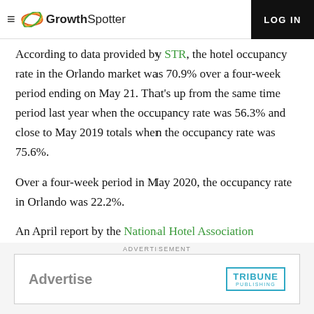GrowthSpotter | LOG IN
According to data provided by STR, the hotel occupancy rate in the Orlando market was 70.9% over a four-week period ending on May 21. That's up from the same time period last year when the occupancy rate was 56.3% and close to May 2019 totals when the occupancy rate was 75.6%.
Over a four-week period in May 2020, the occupancy rate in Orlando was 22.2%.
An April report by the National Hotel Association says that hotel revenue from leisure travel in the U.S.
ADVERTISEMENT
[Figure (other): Tribune Publishing advertisement banner with 'Advertise' text and Tribune Publishing logo]